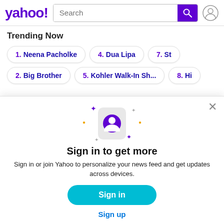yahoo! Search
Trending Now
1. Neena Pacholke
4. Dua Lipa
7. St...
2. Big Brother
5. Kohler Walk-In Sh...
8. Hi...
[Figure (screenshot): Sign in modal overlay with user profile icon, sparkle decorations, title 'Sign in to get more', subtitle 'Sign in or join Yahoo to personalize your news feed and get updates across devices.', Sign in button, and Sign up link]
Sign in to get more
Sign in or join Yahoo to personalize your news feed and get updates across devices.
Sign in
Sign up